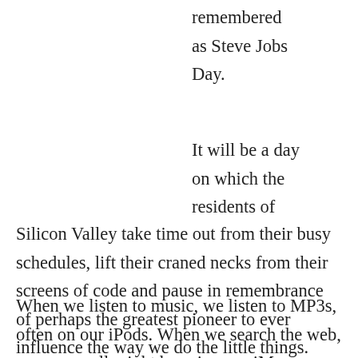remembered as Steve Jobs Day.
It will be a day on which the residents of Silicon Valley take time out from their busy schedules, lift their craned necks from their screens of code and pause in remembrance of perhaps the greatest pioneer to ever influence the way we do the little things.
When we listen to music, we listen to MP3s, often on our iPods. When we search the web, we very well might be using our iMacs or our MacBooks. We read magazines on our iPads. When we make a call, we might very well be